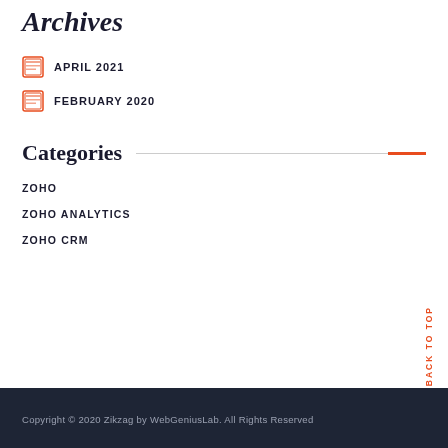Archives
APRIL 2021
FEBRUARY 2020
Categories
ZOHO
ZOHO ANALYTICS
ZOHO CRM
Copyright © 2020 Zikzag by WebGeniusLab. All Rights Reserved